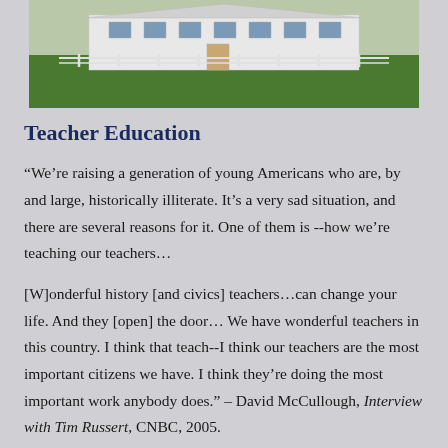[Figure (photo): A white building with a green lawn in front, possibly a historic schoolhouse or farm building, with a white fence in the background.]
Teacher Education
“We’re raising a generation of young Americans who are, by and large, historically illiterate. It’s a very sad situation, and there are several reasons for it. One of them is --how we’re teaching our teachers…
[W]onderful history [and civics] teachers…can change your life. And they [open] the door… We have wonderful teachers in this country. I think that teach--I think our teachers are the most important citizens we have. I think they’re doing the most important work anybody does.” – David McCullough, Interview with Tim Russert, CNBC, 2005.